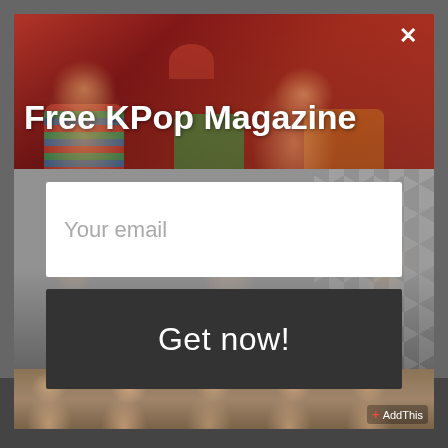[Figure (screenshot): KPop magazine promotional popup modal with photos of K-Pop artists in background, email signup form, and Get now button. Top section shows young women in colorful attire against red background. Middle section shows group of people in white clothing. Bottom strip shows female K-Pop group smiling.]
Free KPop Magazine
Your email
Get now!
AddThis